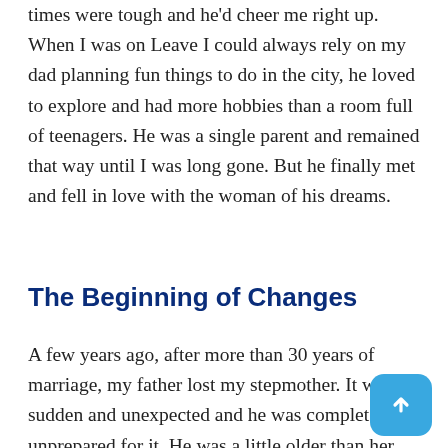times were tough and he'd cheer me right up. When I was on Leave I could always rely on my dad planning fun things to do in the city, he loved to explore and had more hobbies than a room full of teenagers. He was a single parent and remained that way until I was long gone. But he finally met and fell in love with the woman of his dreams.
The Beginning of Changes
A few years ago, after more than 30 years of marriage, my father lost my stepmother. It was sudden and unexpected and he was completely unprepared for it. He was a little older than her and always expected that she would outlive him. He had never contemplated a